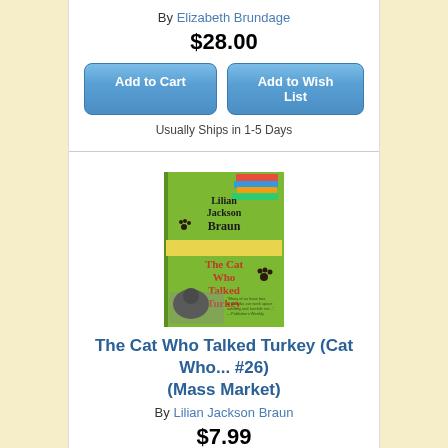By Elizabeth Brundage
$28.00
[Figure (screenshot): Add to Cart and Add to Wish List buttons (blue rounded rectangles)]
Usually Ships in 1-5 Days
[Figure (photo): Book cover: The Cat Who Talked Turkey by Lilian Jackson Braun - green cover with author name and orange title text, cat paw prints]
The Cat Who Talked Turkey (Cat Who... #26) (Mass Market)
By Lilian Jackson Braun
$7.99
[Figure (screenshot): Add to Cart and Add to Wish List buttons (blue rounded rectangles)]
Usually Ships in 1-5 Days
[Figure (photo): Partial book cover visible at bottom of page - dark/black and white image]